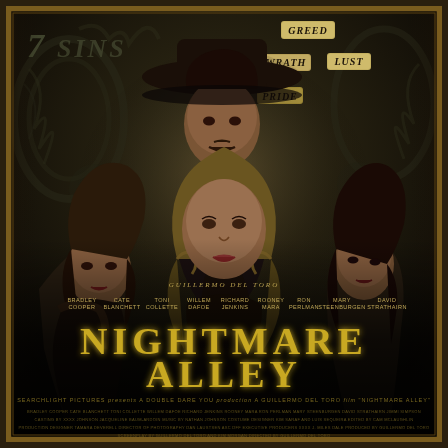[Figure (illustration): Movie poster for 'Nightmare Alley' directed by Guillermo del Toro. Dark, sepia-toned poster featuring four actors: a man in black hat and suit at top center, a blonde woman at bottom center foreground, a woman with dark hair on the left, and a woman with dark hair on the right. Background shows stone relief carvings with sin labels: '7 SINS', 'GREED', 'WRATH', 'LUST', 'PRIDE'. Bottom has cast names and large golden title text 'NIGHTMARE ALLEY'. Studio: Searchlight Pictures.]
NIGHTMARE ALLEY
GUILLERMO DEL TORO
BRADLEY COOPER  CATE BLANCHETT  TONI COLLETTE  WILLEM DAFOE  RICHARD JENKINS  ROONEY MARA  RON PERLMAN  MARY STEENBURGEN  DAVID STRATHAIRN
SEARCHLIGHT PICTURES presents A DOUBLE DARE YOU production A GUILLERMO DEL TORO film "NIGHTMARE ALLEY"